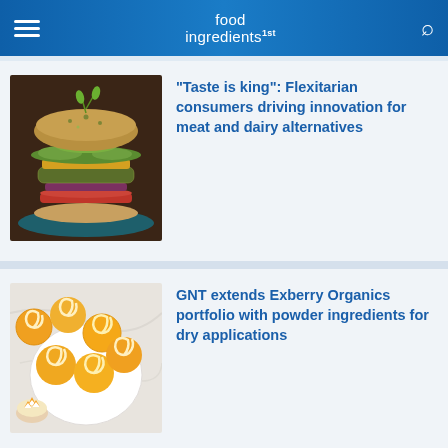food ingredients 1st
[Figure (photo): A gourmet plant-based burger with layered vegetables, avocado, and greens on a sesame-herb bun, served on a blue plate]
“Taste is king”: Flexitarian consumers driving innovation for meat and dairy alternatives
[Figure (photo): Overhead view of decorated orange and yellow swirl cookies on a white plate, with candy corn in a small bowl, on a marble surface]
GNT extends Exberry Organics portfolio with powder ingredients for dry applications